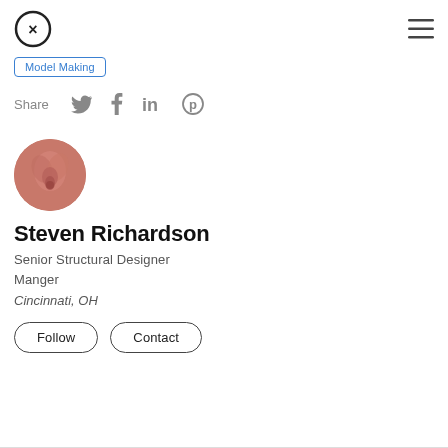Model Making
Share
[Figure (screenshot): Circular avatar photo showing a pink/salmon colored rose or floral texture]
Steven Richardson
Senior Structural Designer Manger
Cincinnati, OH
Follow   Contact